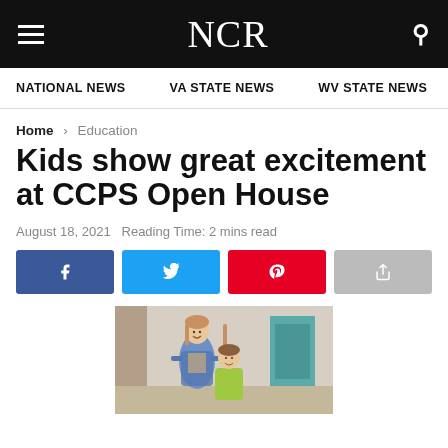NCR
NATIONAL NEWS   VA STATE NEWS   WV STATE NEWS
Home > Education
Kids show great excitement at CCPS Open House
August 18, 2021   Reading Time: 2 mins read
[Figure (screenshot): Social share buttons: Facebook, Twitter, Pinterest, Share]
[Figure (photo): Photo of two people (an adult woman and a young girl) standing together in a classroom setting.]